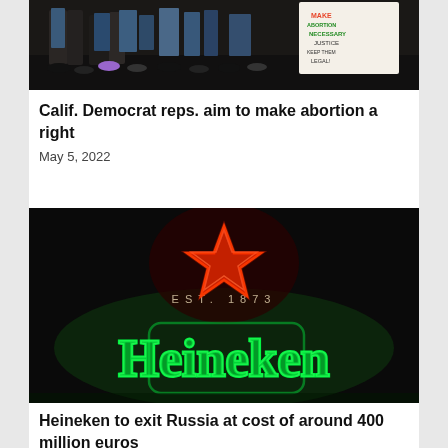[Figure (photo): Protest photo showing people's legs/feet from behind, person holding signs including one reading 'MAKE ABORTION A RIGHT']
Calif. Democrat reps. aim to make abortion a right
May 5, 2022
[Figure (photo): Heineken neon sign showing glowing green 'Heineken' text with red star logo and 'EST. 1873' text on dark background]
Heineken to exit Russia at cost of around 400 million euros